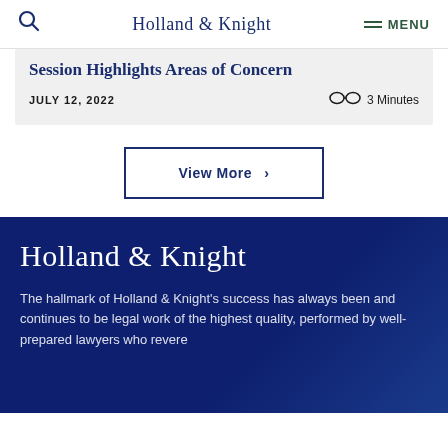Holland & Knight  MENU
Session Highlights Areas of Concern
JULY 12, 2022   3 Minutes
View More >
Holland & Knight
The hallmark of Holland & Knight's success has always been and continues to be legal work of the highest quality, performed by well-prepared lawyers who revere...